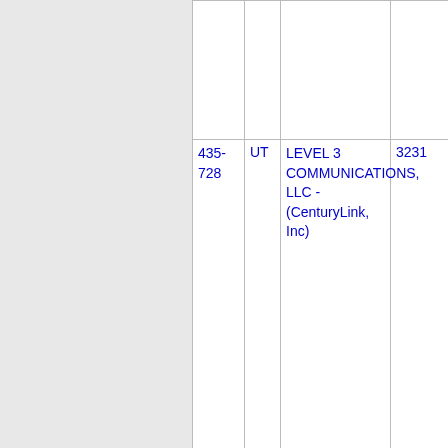|  | State | Company | Number |
| --- | --- | --- | --- |
|  |  |  |  |
| 435-728 | UT | LEVEL 3 COMMUNICATIONS, LLC - (CenturyLink, Inc) | 3231 |
| Thousands block for 435-728 |  |  |  |
| 435-728 | UT | LEVEL 3 COMMUNICATIONS, | 3231 |